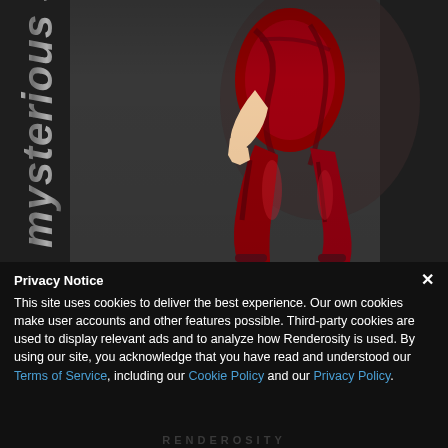[Figure (illustration): 3D rendered female figure wearing a red and dark patterned catsuit/bodysuit, with vertical metallic styled text 'Mysterious Su...' rotated on the left side. Background is dark gray.]
Privacy Notice
This site uses cookies to deliver the best experience. Our own cookies make user accounts and other features possible. Third-party cookies are used to display relevant ads and to analyze how Renderosity is used. By using our site, you acknowledge that you have read and understood our Terms of Service, including our Cookie Policy and our Privacy Policy.
RENDEROSITY